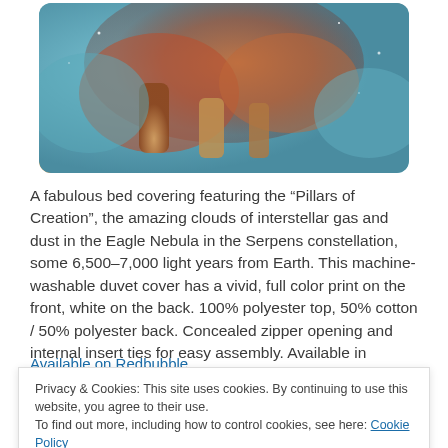[Figure (photo): Product photo of a duvet cover featuring the Pillars of Creation nebula image, showing colorful clouds in teal, orange, and brown tones, with rounded corners on white background]
A fabulous bed covering featuring the “Pillars of Creation”, the amazing clouds of interstellar gas and dust in the Eagle Nebula in the Serpens constellation, some 6,500–7,000 light years from Earth. This machine-washable duvet cover has a vivid, full color print on the front, white on the back. 100% polyester top, 50% cotton / 50% polyester back. Concealed zipper opening and internal insert ties for easy assembly. Available in multiple sizes from twin to king. Twin size (173 x 224 cm) fits most extra long dorm beds. Duvet insert not included.
Privacy & Cookies: This site uses cookies. By continuing to use this website, you agree to their use.
To find out more, including how to control cookies, see here: Cookie Policy
Close and accept